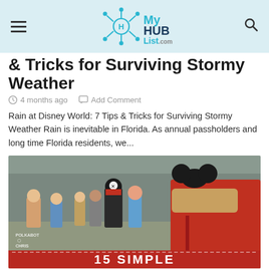MyHUBList.com
& Tricks for Surviving Stormy Weather
4 months ago   Add Comment
Rain at Disney World: 7 Tips & Tricks for Surviving Stormy Weather Rain is inevitable in Florida. As annual passholders and long time Florida residents, we...
[Figure (photo): Disney World crowd scene with a person wearing a Mickey Mouse ear hat and red shirt in the foreground, and a pirate character visible in the background. Bottom banner reads '15 SIMPLE']